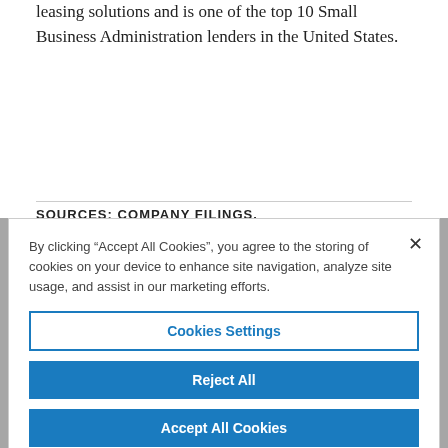leasing solutions and is one of the top 10 Small Business Administration lenders in the United States.
SOURCES: COMPANY FILINGS.
1 This material has been prepared solely for informative purposes as of
By clicking "Accept All Cookies", you agree to the storing of cookies on your device to enhance site navigation, analyze site usage, and assist in our marketing efforts.
Cookies Settings
Reject All
Accept All Cookies